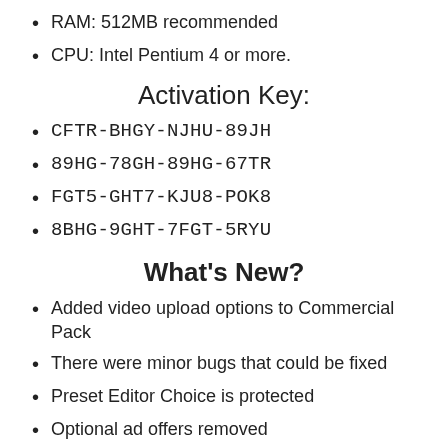RAM: 512MB recommended
CPU: Intel Pentium 4 or more.
Activation Key:
CFTR-BHGY-NJHU-89JH
89HG-78GH-89HG-67TR
FGT5-GHT7-KJU8-POK8
8BHG-9GHT-7FGT-5RYU
What's New?
Added video upload options to Commercial Pack
There were minor bugs that could be fixed
Preset Editor Choice is protected
Optional ad offers removed